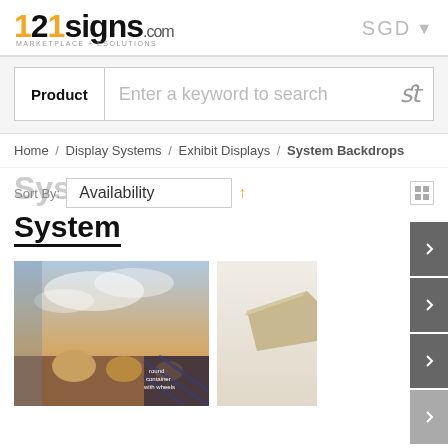121signs.com MARKETPLACE + eSolutions | SGD
[Figure (screenshot): Search bar with Product label and keyword search input field with search icon]
Home / Display Systems / Exhibit Displays / System Backdrops
Sort By: Availability ↑ System
[Figure (photo): Product image of a fabric system backdrop with rolled fabric and scene printed, and a second product partially visible]
round container with wheels